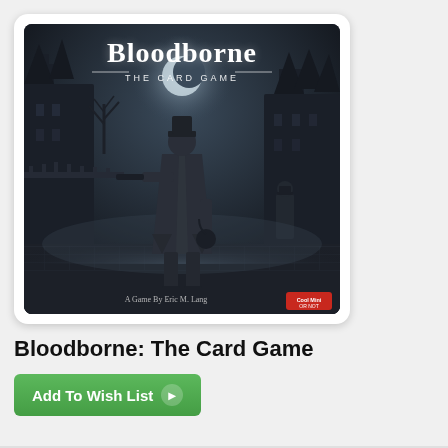[Figure (illustration): Bloodborne: The Card Game box art showing a dark, gothic city scene with a hunter figure in a long coat and hat viewed from behind, holding weapons, with foggy stone-paved streets and ominous architecture. Title 'Bloodborne THE CARD GAME' shown at top. Text 'A Game By Eric M. Lang' at bottom center. Cool Mini Or Not logo at bottom right.]
Bloodborne: The Card Game
Add To Wish List